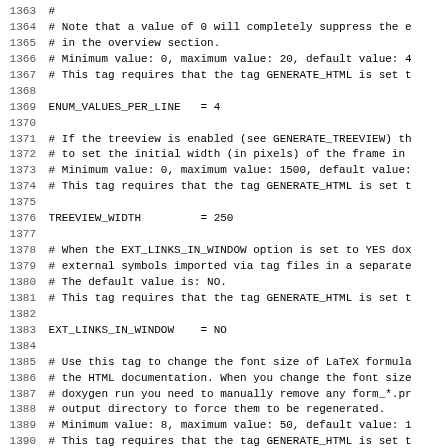Code/configuration file excerpt showing doxygen configuration settings with line numbers 1364-1395. Settings shown: ENUM_VALUES_PER_LINE = 4, TREEVIEW_WIDTH = 250, EXT_LINKS_IN_WINDOW = NO, FORMULA_FONTSIZE = 10, with associated comments.